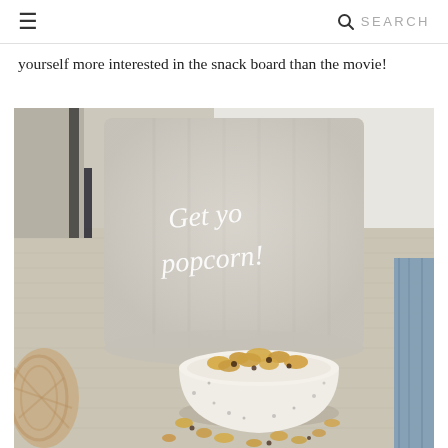≡  🔍 SEARCH
yourself more interested in the snack board than the movie!
[Figure (photo): A decorative grey linen pillow with white handwritten script text reading 'Get yo popcorn!' sits on a textured woven rug. In front of it is a white speckled ceramic bowl filled with caramel popcorn mixed with chocolate chips, with scattered popcorn pieces around it. A wooden rattan object is partially visible on the left, and a blue denim fabric is visible on the right edge.]